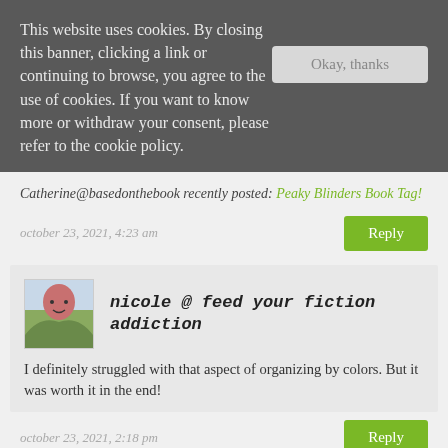This website uses cookies. By closing this banner, clicking a link or continuing to browse, you agree to the use of cookies. If you want to know more or withdraw your consent, please refer to the cookie policy.
Catherine@basedonthebook recently posted: Peaky Blinders Book Tag!
october 23, 2021, 4:23 am
nicole @ feed your fiction addiction
I definitely struggled with that aspect of organizing by colors. But it was worth it in the end!
october 23, 2021, 2:18 pm